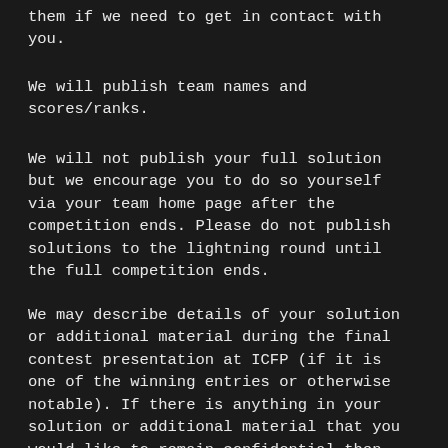them if we need to get in contact with you.
We will publish team names and scores/ranks.
We will not publish your full solution but we encourage you to do so yourself via your team home page after the competition ends. Please do not publish solutions to the lightning round until the full competition ends.
We may describe details of your solution or additional material during the final contest presentation at ICFP (if it is one of the winning entries or otherwise notable). If there is anything in your solution or additional material that you would like to remain confidential then